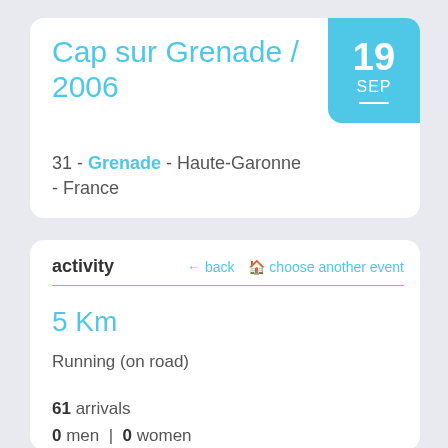Cap sur Grenade / 2006
31 - Grenade - Haute-Garonne - France
19 SEP
activity
← back 🏠 choose another event
5 Km
Running (on road)
61 arrivals
0 men | 0 women